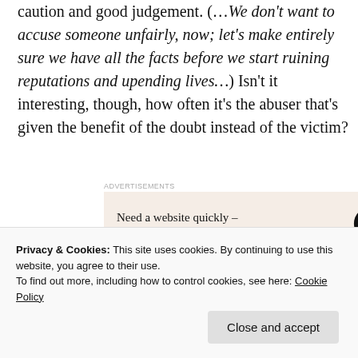caution and good judgement. (...We don't want to accuse someone unfairly, now; let's make entirely sure we have all the facts before we start ruining reputations and upending lives...) Isn't it interesting, though, how often it's the abuser that's given the benefit of the doubt instead of the victim?
[Figure (other): WordPress advertisement banner with beige background reading 'Need a website quickly – and on a budget?' with WordPress logo]
Students and DV service providers have asked me
Privacy & Cookies: This site uses cookies. By continuing to use this website, you agree to their use.
To find out more, including how to control cookies, see here: Cookie Policy